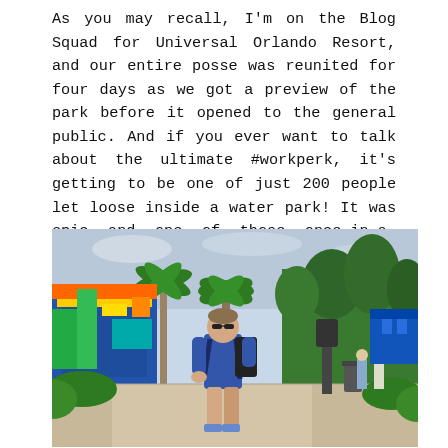As you may recall, I'm on the Blog Squad for Universal Orlando Resort, and our entire posse was reunited for four days as we got a preview of the park before it opened to the general public. And if you ever want to talk about the ultimate #workperk, it's getting to be one of just 200 people let loose inside a water park! It was epic and one of those once-in-a-lifetime opportunities.
[Figure (photo): A man in a blue t-shirt and sunglasses carrying a backpack stands on a walkway inside a colorful water park. There are palm trees, tropical plants, colorful water park structures and slides visible in the background, along with other visitors walking in the distance.]